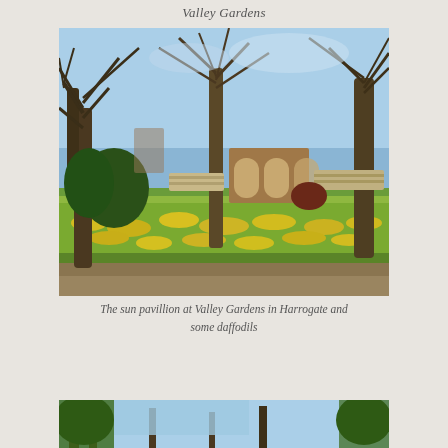Valley Gardens
[Figure (photo): The sun pavillion at Valley Gardens in Harrogate with daffodils in the foreground and bare trees, a brick archway structure visible in the background under a blue sky.]
The sun pavillion at Valley Gardens in Harrogate and some daffodils
[Figure (photo): Another view of Valley Gardens in Harrogate showing trees and blue sky, partially cropped at bottom of page.]